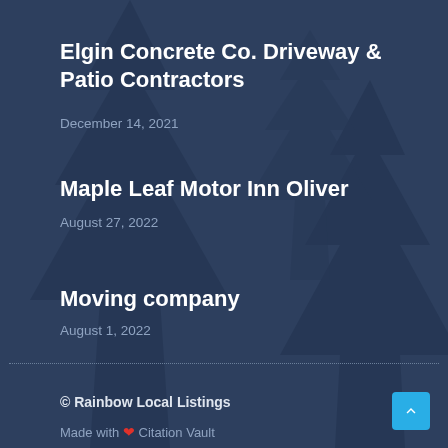Elgin Concrete Co. Driveway & Patio Contractors
December 14, 2021
Maple Leaf Motor Inn Oliver
August 27, 2022
Moving company
August 1, 2022
© Rainbow Local Listings
Made with ❤ Citation Vault